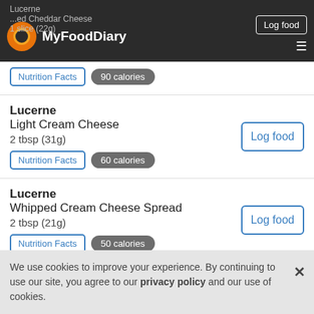Lucerne | MyFoodDiary | Log food
Lucerne Light Cream Cheese, 2 tbsp (31g), Nutrition Facts, 60 calories, Log food
Lucerne Whipped Cream Cheese Spread, 2 tbsp (21g), Nutrition Facts, 50 calories, Log food
Lucerne Finely Shredded Cheddar Jack Cheese, 1/4 cup (28g), Log food
We use cookies to improve your experience. By continuing to use our site, you agree to our privacy policy and our use of cookies.